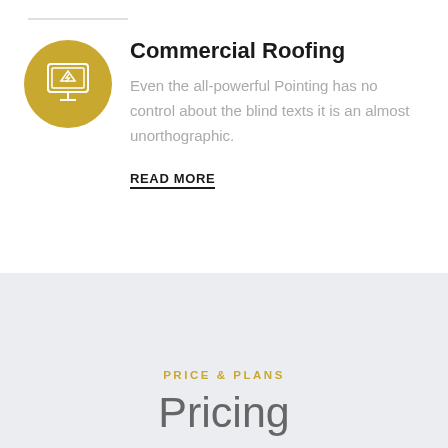[Figure (illustration): Gold circular icon with a computer/monitor showing an electrical hazard/lightning bolt symbol]
Commercial Roofing
Even the all-powerful Pointing has no control about the blind texts it is an almost unorthographic.
READ MORE
PRICE & PLANS
Pricing